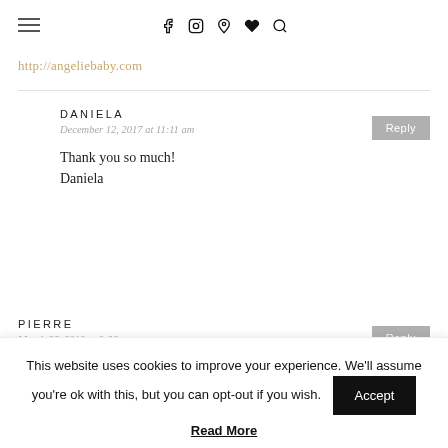f  Ⓜ  Ⓟ  ♥  🔍
http://angeliebaby.com
DANIELA
December 12, 2017 at 11:11 am

Thank you so much! Daniela
PIERRE
March 26, 2018 at 9:26 am
This website uses cookies to improve your experience. We'll assume you're ok with this, but you can opt-out if you wish. Accept
Read More